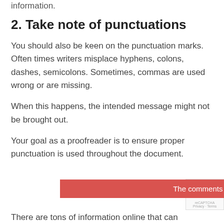information.
2. Take note of punctuations
You should also be keen on the punctuation marks. Often times writers misplace hyphens, colons, dashes, semicolons. Sometimes, commas are used wrong or are missing.
When this happens, the intended message might not be brought out.
Your goal as a proofreader is to ensure proper punctuation is used throughout the document.
The comments could not be retrieved
There are tons of information online that can